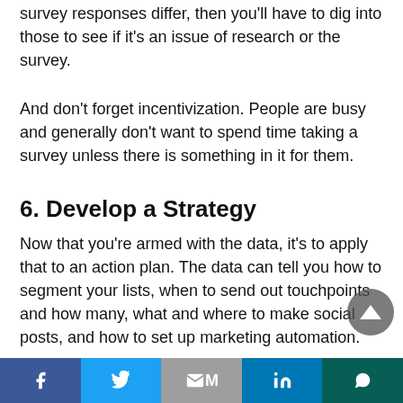survey responses differ, then you'll have to dig into those to see if it's an issue of research or the survey.
And don't forget incentivization. People are busy and generally don't want to spend time taking a survey unless there is something in it for them.
6. Develop a Strategy
Now that you're armed with the data, it's to apply that to an action plan. The data can tell you how to segment your lists, when to send out touchpoints and how many, what and where to make social posts, and how to set up marketing automation.